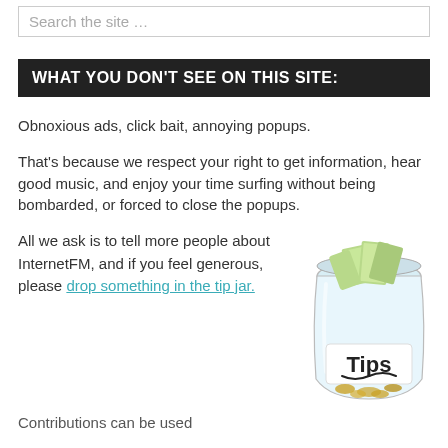Search the site …
WHAT YOU DON'T SEE ON THIS SITE:
Obnoxious ads, click bait, annoying popups.
That's because we respect your right to get information, hear good music, and enjoy your time surfing without being bombarded, or forced to close the popups.
All we ask is to tell more people about InternetFM, and if you feel generous, please drop something in the tip jar.
[Figure (photo): A glass jar labeled 'Tips' filled with rolled paper bills and coins]
Contributions can be used